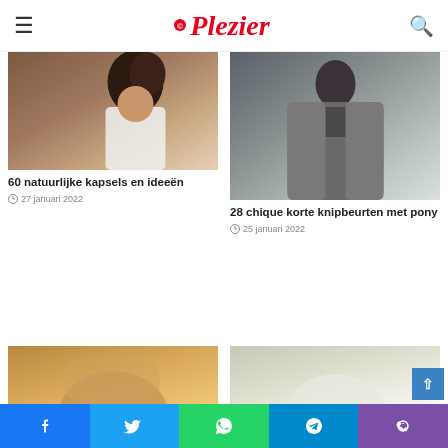Plezier
[Figure (photo): Woman with curly hair smiling outdoors]
60 natuurlijke kapsels en ideeën
27 januari 2022
[Figure (photo): Woman in grey knit jacket sitting]
28 chique korte knipbeurten met pony
25 januari 2022
[Figure (photo): Person with short blonde hair from behind]
[Figure (photo): Person with short platinum blonde hair from behind]
Facebook | Twitter | WhatsApp | Telegram | Phone